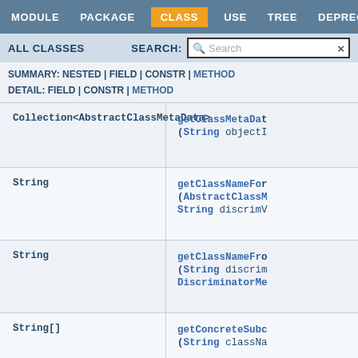MODULE  PACKAGE  CLASS  USE  TREE  DEPRECATED  INDEX
ALL CLASSES  SEARCH:
SUMMARY: NESTED | FIELD | CONSTR | METHOD
DETAIL: FIELD | CONSTR | METHOD
| Return Type | Method |
| --- | --- |
| Collection<AbstractClassMetaData> | getClassMetaData(...)
(String objectI...) |
| String | getClassNameFor...
(AbstractClassM...
String discrimV... |
| String | getClassNameFro...
(String discrim...
DiscriminatorMe... |
| String[] | getConcreteSubc...
(String classNa... |